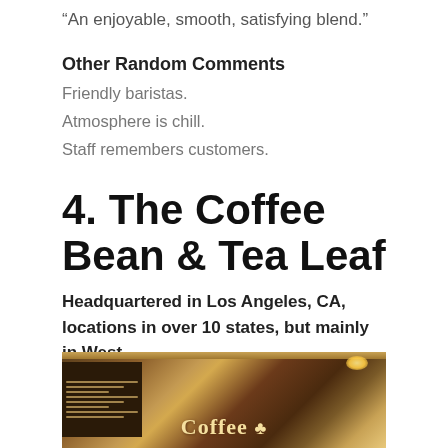“An enjoyable, smooth, satisfying blend.”
Other Random Comments
Friendly baristas.
Atmosphere is chill.
Staff remembers customers.
4. The Coffee Bean & Tea Leaf
Headquartered in Los Angeles, CA, locations in over 10 states, but mainly in West
Rating: 3.95
[Figure (photo): Interior photo of The Coffee Bean & Tea Leaf store showing menu board on the left and the circular Coffee Bean logo sign on the right, with warm brown and golden tones and overhead lights visible.]